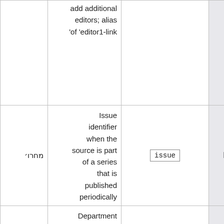| (col1-Hebrew) | Description | Parameter | Field |
| --- | --- | --- | --- |
| מחרו׳ | add additional editors; alias 'of 'editor1-link |  |  |
| מחרו׳ | Issue identifier when the source is part of a series that is published periodically | issue | Issue |
| מחרו׳ | Department within the periodical | department | Department |